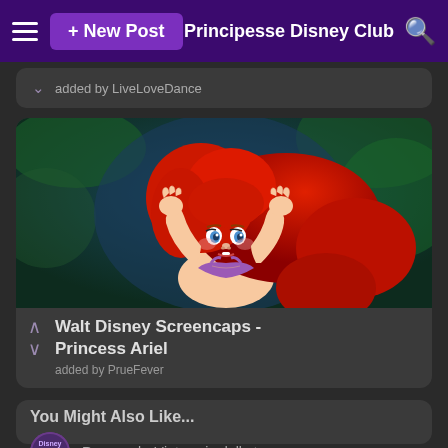+ New Post | Principesse Disney Club
added by LiveLoveDance
[Figure (illustration): Animated screenshot of Princess Ariel from The Little Mermaid with red hair and purple bikini top, looking surprised with hands raised]
Walt Disney Screencaps - Princess Ariel
added by PrueFever
You Might Also Like...
[Figure (illustration): Circular thumbnail for Tangled (Rapunzel) movie]
Rapunzel - L'intreccio della torre